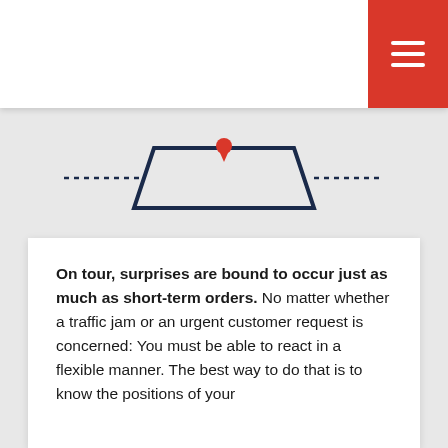[Figure (illustration): Navigation/routing diagram showing a parallelogram shape outlined in dark navy blue with dotted lines extending from it horizontally, and a small red location pin marker on top, suggesting a map route or tour path concept.]
On tour, surprises are bound to occur just as much as short-term orders. No matter whether a traffic jam or an urgent customer request is concerned: You must be able to react in a flexible manner. The best way to do that is to know the positions of your